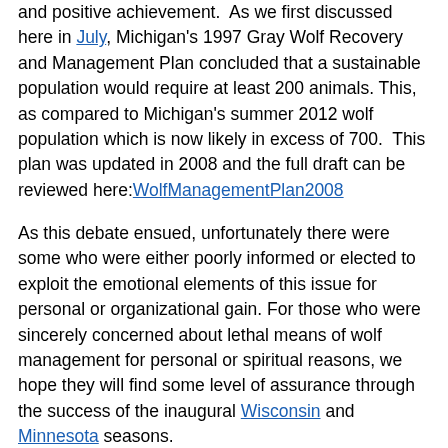and positive achievement.  As we first discussed here in July, Michigan's 1997 Gray Wolf Recovery and Management Plan concluded that a sustainable population would require at least 200 animals. This, as compared to Michigan's summer 2012 wolf population which is now likely in excess of 700.  This plan was updated in 2008 and the full draft can be reviewed here:WolfManagementPlan2008

As this debate ensued, unfortunately there were some who were either poorly informed or elected to exploit the emotional elements of this issue for personal or organizational gain. For those who were sincerely concerned about lethal means of wolf management for personal or spiritual reasons, we hope they will find some level of assurance through the success of the inaugural Wisconsin and Minnesota seasons.